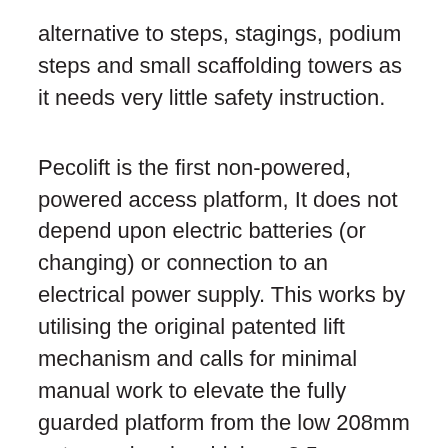alternative to steps, stagings, podium steps and small scaffolding towers as it needs very little safety instruction.
Pecolift is the first non-powered, powered access platform, It does not depend upon electric batteries (or changing) or connection to an electrical power supply. This works by utilising the original patented lift mechanism and calls for minimal manual work to elevate the fully guarded platform from the low 208mm entrance level as high as 3.5 m operating height (1.5 m platform height), stopping at virtually any level you wish. No more going up steps and balancing, you are simply fully secured with both hands totally free to work.
With a tiny footprint and at just 180kg, Pecolift is extremely easy to push and steer even in the most constricted areas.